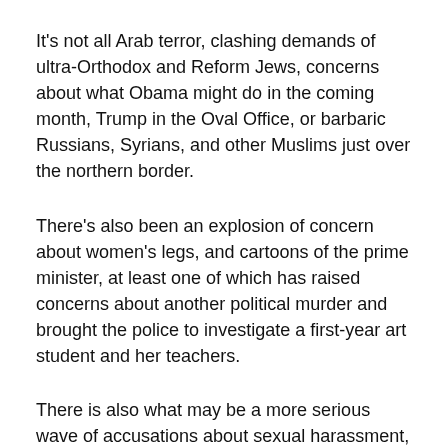It's not all Arab terror, clashing demands of ultra-Orthodox and Reform Jews, concerns about what Obama might do in the coming month, Trump in the Oval Office, or barbaric Russians, Syrians, and other Muslims just over the northern border.
There's also been an explosion of concern about women's legs, and cartoons of the prime minister, at least one of which has raised concerns about another political murder and brought the police to investigate a first-year art student and her teachers.
There is also what may be a more serious wave of accusations about sexual harassment, bringing forth a special version of tongue-clucking insofar as the accused have been religious Jews of prominence.
Women's legs became an issue when Knesset guards refused entry to a parliamentary aide whose skirt